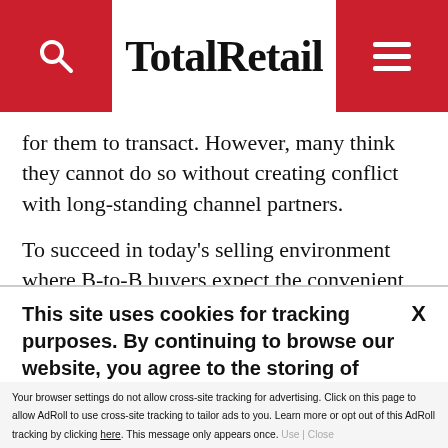TotalRetail
for them to transact. However, many think they cannot do so without creating conflict with long-standing channel partners.
To succeed in today’s selling environment where B-to-B buyers expect the convenient shopping experience they have in their B-to-C lives, B-to-B manufacturers must quickly look for ways to
This site uses cookies for tracking purposes. By continuing to browse our website, you agree to the storing of first- and third-party cookies on your device to enhance site navigation, analyze site
usage, and assist in our marketing and
Accept and Close ✕
Your browser settings do not allow cross-site tracking for advertising. Click on this page to allow AdRoll to use cross-site tracking to tailor ads to you. Learn more or opt out of this AdRoll tracking by clicking here. This message only appears once.